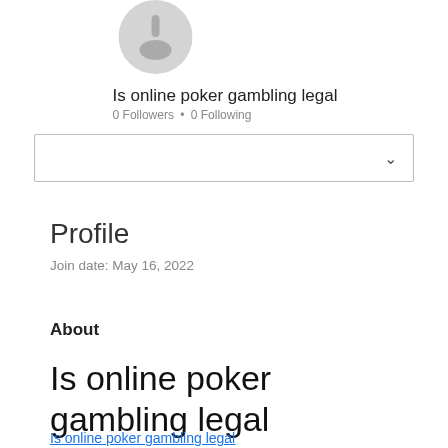[Figure (illustration): Gray circular avatar placeholder with a person silhouette icon]
Is online poker gambling legal
0 Followers • 0 Following
[Figure (screenshot): Dropdown selector box with chevron arrow on the right]
Profile
Join date: May 16, 2022
About
Is online poker gambling legal
Is online poker gambling legal